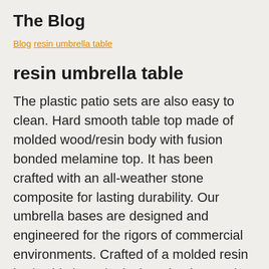The Blog
Blog resin umbrella table
resin umbrella table
The plastic patio sets are also easy to clean. Hard smooth table top made of molded wood/resin body with fusion bonded melamine top. It has been crafted with an all-weather stone composite for lasting durability. Our umbrella bases are designed and engineered for the rigors of commercial environments. Crafted of a molded resin body, this base is designed to be used with a patio table rather than for freestanding use. Shop for resin tables patio furniture online at Target. 2 ... Replacement umbrella poles are available. $25.99 /Each. 2 swimline supreme above ground...